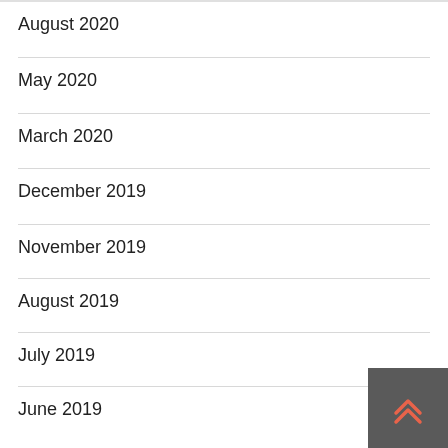August 2020
May 2020
March 2020
December 2019
November 2019
August 2019
July 2019
June 2019
May 2019
December 2018
November 2018